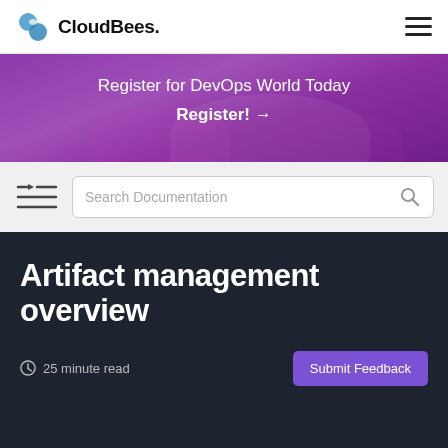CloudBees.
[Figure (other): Purple banner with text: Register for DevOps World Today Register! →]
Search Documentation
Artifact management overview
25 minute read